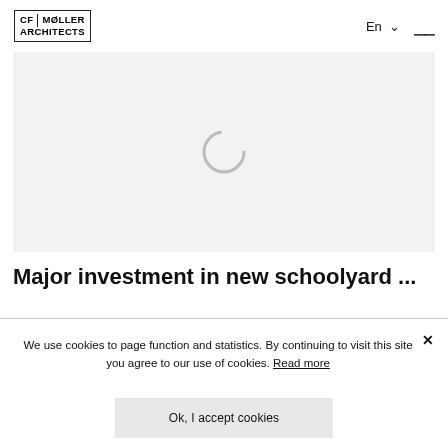CF MØLLER ARCHITECTS
[Figure (screenshot): Loading spinner on a light grey background]
Major investment in new schoolyard ...
We use cookies to page function and statistics. By continuing to visit this site you agree to our use of cookies. Read more
Ok, I accept cookies